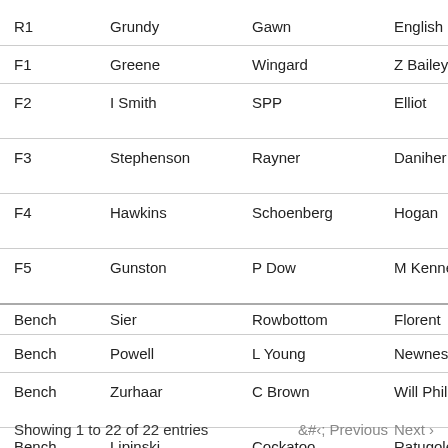|  | Col1 | Col2 | Col3 | Col4 |
| --- | --- | --- | --- | --- |
| R1 | Grundy | Gawn | English | Preuss |
| F1 | Greene | Wingard | Z Bailey | Zorko |
| F2 | I Smith | SPP | Elliot | J Martin |
| F3 | Stephenson | Rayner | Daniher | Lamber |
| F4 | Hawkins | Schoenberg | Hogan | J Higgin |
| F5 | Gunston | P Dow | M Kennedy | Taberne |
| Bench | Sier | Rowbottom | Florent | Fiorini |
| Bench | Powell | L Young | Newnes | Nelson |
| Bench | Zurhaar | C Brown | Will Phillips | Handso Tom |
| Bench | Lipinski | Cockatoo | Ratugolea | Will Bro |
Showing 1 to 22 of 22 entries
< Previous   Next >